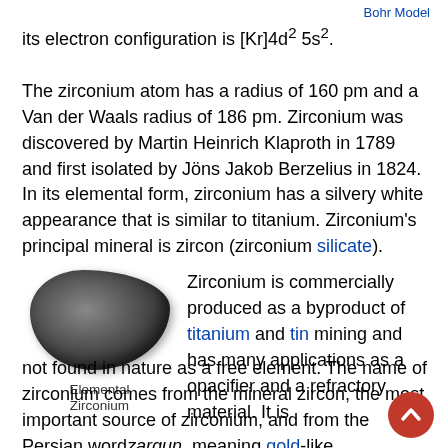Bohr Model
its electron configuration is [Kr]4d² 5s².
The zirconium atom has a radius of 160 pm and a Van der Waals radius of 186 pm. Zirconium was discovered by Martin Heinrich Klaproth in 1789 and first isolated by Jöns Jakob Berzelius in 1824. In its elemental form, zirconium has a silvery white appearance that is similar to titanium. Zirconium's principal mineral is zircon (zirconium silicate).
[Figure (photo): A dark metallic chunk of elemental zirconium mineral ore.]
Elemental Zirconium
Zirconium is commercially produced as a byproduct of titanium and tin mining and has many applications as a opacifier and a refractory material. It is not found in nature as a free element. The name of zirconium comes from the mineral zircon, the most important source of zirconium, and from the Persian word zargun, meaning gold-like.